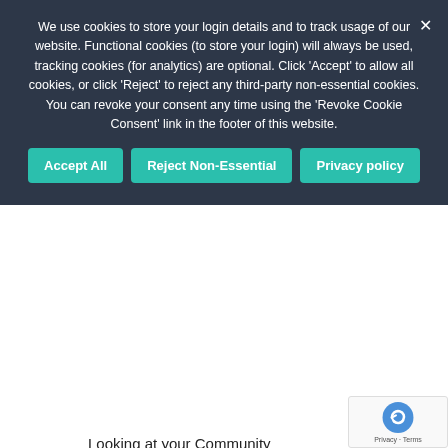We use cookies to store your login details and to track usage of our website. Functional cookies (to store your login) will always be used, tracking cookies (for analytics) are optional. Click 'Accept' to allow all cookies, or click 'Reject' to reject any third-party non-essential cookies. You can revoke your consent any time using the 'Revoke Cookie Consent' link in the footer of this website.
Accept All
Reject Non-Essential
Privacy policy
Looking at your Community
Prayers and Poems
St James The Least of All
Book Reviews
God in the Arts
God in the Sciences
Smile Lines
Quotes
All Editorial